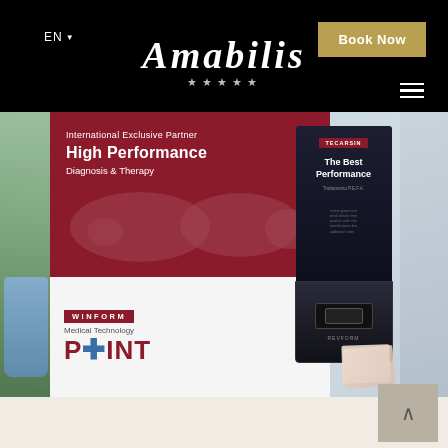EN  Book Now
[Figure (logo): Amabilis script logo with five stars below, white on black background]
[Figure (photo): Wellness/medical spa product display showing a WINFORM Medical Technology POINT banner with 'International Exclusive Partner - High Performance Diagnosis & Therapy' text, a TECARSIN branded device labeled 'The Best Performance - Trattamento P.E.F.A.', set on a white table with a glass vase of plants on the left and printed materials on the right]
Back to top navigation button